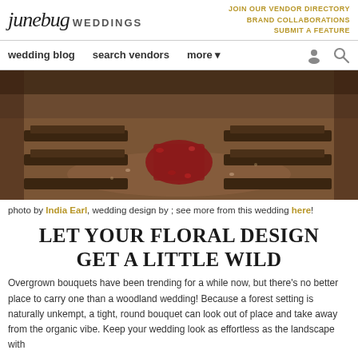junebug WEDDINGS | JOIN OUR VENDOR DIRECTORY  BRAND COLLABORATIONS  SUBMIT A FEATURE
wedding blog  search vendors  more
[Figure (photo): Aerial view of a rustic woodland wedding reception setup with wooden benches arranged in rows and a red floral arrangement on the ground, surrounded by earth and scattered petals.]
photo by India Earl, wedding design by ; see more from this wedding here!
LET YOUR FLORAL DESIGN GET A LITTLE WILD
Overgrown bouquets have been trending for a while now, but there's no better place to carry one than a woodland wedding! Because a forest setting is naturally unkempt, a tight, round bouquet can look out of place and take away from the organic vibe. Keep your wedding look as effortless as the landscape with